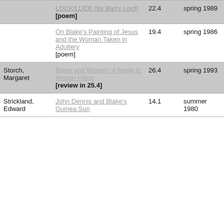| Author | Title | Vol | Season/Year | Page |
| --- | --- | --- | --- | --- |
|  | LOCK/LUCK (for Barry Lord) [poem] | 22.4 | spring 1989 | 145 |
|  | On Blake's Painting of Jesus and the Woman Taken in Adultery [poem] | 19.4 | spring 1986 | 150 |
| Storch, Margaret | Blake and Women: A Reply to Nelson Hilton [review in 25.4] | 26.4 | spring 1993 | 161 |
| Strickland, Edward | John Dennis and Blake's Guinea Sun | 14.1 | summer 1980 | 36 |